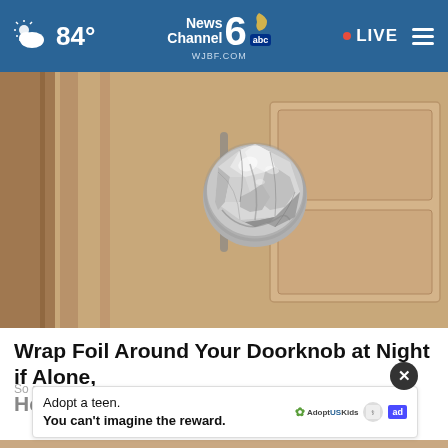84° News Channel 6 abc WJBF.COM • LIVE
[Figure (photo): A door knob wrapped in crumpled aluminum foil on a wooden door]
Wrap Foil Around Your Doorknob at Night if Alone, Here's Why
So go...
[Figure (infographic): Advertisement overlay: Adopt a teen. You can't imagine the reward. AdoptUSKids logo, ad badge]